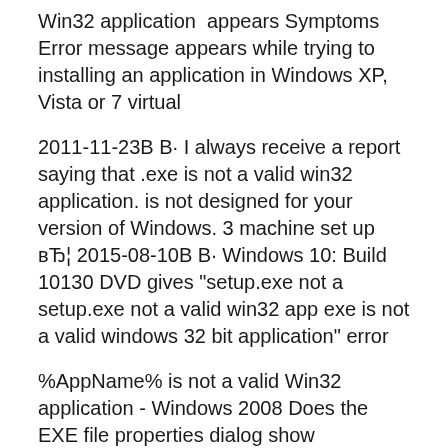Win32 application  appears Symptoms Error message appears while trying to installing an application in Windows XP, Vista or 7 virtual
2011-11-23В В· I always receive a report saying that .exe is not a valid win32 application. is not designed for your version of Windows. 3 machine set up вЂ¦ 2015-08-10В В· Windows 10: Build 10130 DVD gives "setup.exe not a setup.exe not a valid win32 app exe is not a valid windows 32 bit application" error
%AppName% is not a valid Win32 application - Windows 2008 Does the EXE file properties dialog show